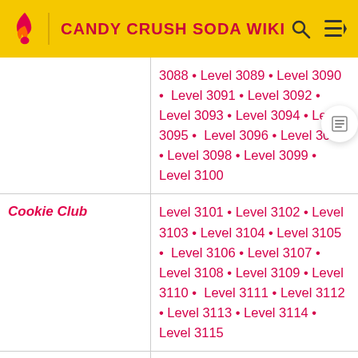CANDY CRUSH SODA WIKI
| Episode | Levels |
| --- | --- |
|  | 3088 • Level 3089 • Level 3090 • Level 3091 • Level 3092 • Level 3093 • Level 3094 • Level 3095 • Level 3096 • Level 3097 • Level 3098 • Level 3099 • Level 3100 |
| Cookie Club | Level 3101 • Level 3102 • Level 3103 • Level 3104 • Level 3105 • Level 3106 • Level 3107 • Level 3108 • Level 3109 • Level 3110 • Level 3111 • Level 3112 • Level 3113 • Level 3114 • Level 3115 |
| Snack Lounge | Level 3116 • Level 3117 • Level 3118 • Level 3119 • Level 3120 • Level 3121 • Level 3122 • Level 3123 • Level 3124 • Level 3125 • Level 3126 • Level 3127 • Level 3128 • Level 3129 • Level 3130 |